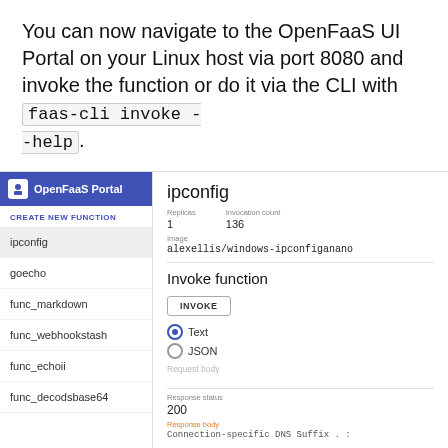You can now navigate to the OpenFaaS UI Portal on your Linux host via port 8080 and invoke the function or do it via the CLI with faas-cli invoke --help.
[Figure (screenshot): Screenshot of the OpenFaaS Portal UI showing a sidebar with function list (ipconfig, goecho, func_markdown, func_webhookstash, func_echoii, func_decodsbase64) and main panel showing ipconfig function details with Replicas: 1, Invocation count: 136, Image: alexellis/windows-ipconfiganano, and Invoke function section with INVOKE button, Text/JSON radio buttons, Request body field, Response status 200, and Response body showing Connection-specific DNS Suffix.]